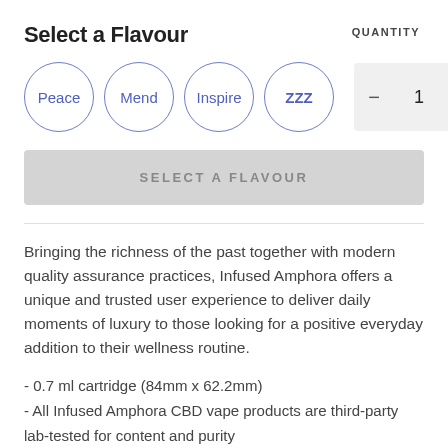Select a Flavour
QUANTITY
Peace | Mend | Inspire | ZZZ | Quantity: 1
SELECT A FLAVOUR
Bringing the richness of the past together with modern quality assurance practices, Infused Amphora offers a unique and trusted user experience to deliver daily moments of luxury to those looking for a positive everyday addition to their wellness routine.
- 0.7 ml cartridge (84mm x 62.2mm)
- All Infused Amphora CBD vape products are third-party lab-tested for content and purity
- Does not contain Vitamin E Acetate, PG (propylene